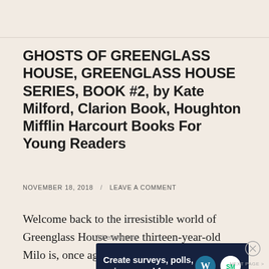GHOSTS OF GREENGLASS HOUSE, GREENGLASS HOUSE SERIES, BOOK #2, by Kate Milford, Clarion Book, Houghton Mifflin Harcourt Books For Young Readers
NOVEMBER 18, 2018 / LEAVE A COMMENT
Welcome back to the irresistible world of Greenglass House where thirteen-year-old Milo is, once again, spending the winter holidays stuck
[Figure (screenshot): Advertisement banner: dark blue background with text 'Create surveys, polls, quizzes, and forms.' alongside WordPress and SurveyMonkey logos]